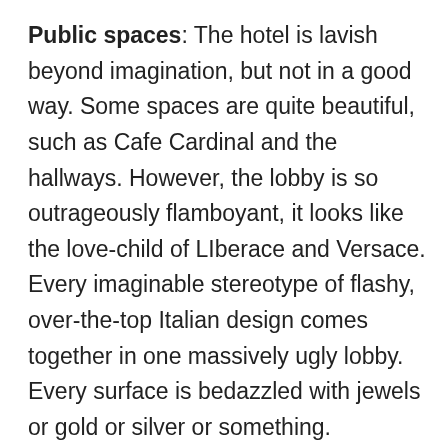Public spaces: The hotel is lavish beyond imagination, but not in a good way. Some spaces are quite beautiful, such as Cafe Cardinal and the hallways. However, the lobby is so outrageously flamboyant, it looks like the love-child of LIberace and Versace. Every imaginable stereotype of flashy, over-the-top Italian design comes together in one massively ugly lobby. Every surface is bedazzled with jewels or gold or silver or something. Fortunately, the lobby itself isn't much of a gathering place, so you won't have to spend much time there. The rooms are slightly more restrained, but not by much. The designers (or the owners) clearly didn't know when to stop. It's as if someone kept saying, "We need more, more